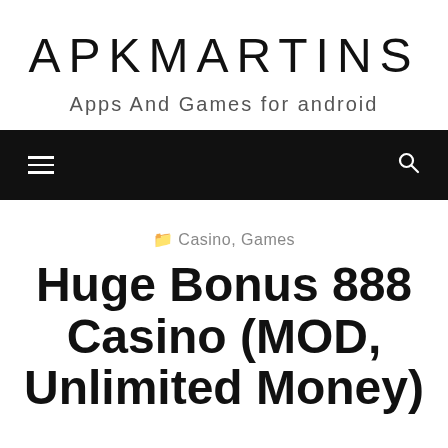APKMARTINS
Apps And Games for android
[Figure (other): Navigation bar with hamburger menu icon on left and search icon on right, black background]
Casino, Games
Huge Bonus 888 Casino (MOD, Unlimited Money)